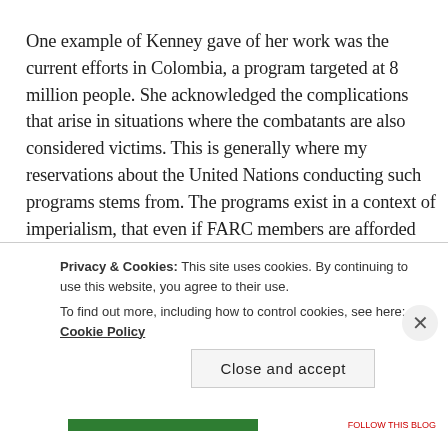One example of Kenney gave of her work was the current efforts in Colombia, a program targeted at 8 million people. She acknowledged the complications that arise in situations where the combatants are also considered victims. This is generally where my reservations about the United Nations conducting such programs stems from. The programs exist in a context of imperialism, that even if FARC members are afforded compensation they are still assumed to be t...
Privacy & Cookies: This site uses cookies. By continuing to use this website, you agree to their use.
To find out more, including how to control cookies, see here: Cookie Policy
Close and accept